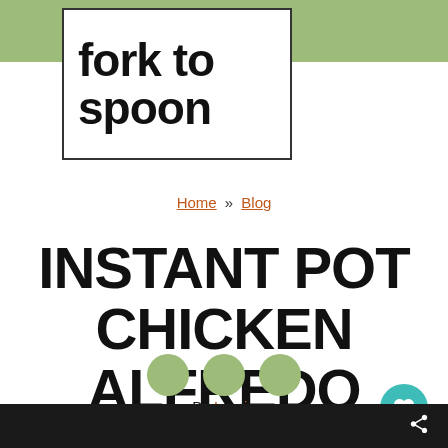[Figure (logo): Fork to spoon logo — bold black text on white background with dark border, set against a sage green top bar]
Home » Blog
INSTANT POT CHICKEN ALFREDO
By Laurie
4